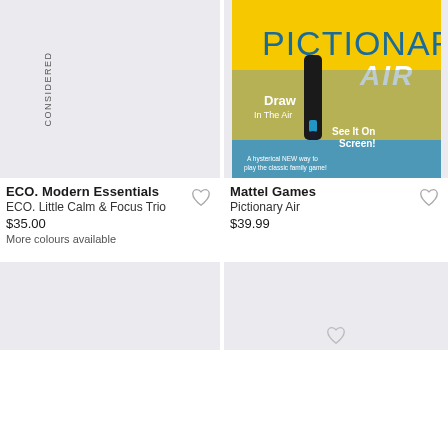[Figure (photo): ECO. Modern Essentials product image placeholder — light gray background with vertical 'CONSIDERED' text label on left side]
[Figure (photo): Pictionary Air board game box — yellow packaging showing people playing the game with text 'Draw In The Air', 'See It On Screen!', 'A hysterical NEW way to play the classic family game!']
ECO. Modern Essentials
ECO. Little Calm & Focus Trio
$35.00
More colours available
Mattel Games
Pictionary Air
$39.99
[Figure (photo): Bottom-left product image placeholder — light gray background, partial view]
[Figure (photo): Bottom-right product image placeholder — light gray background, partial view]